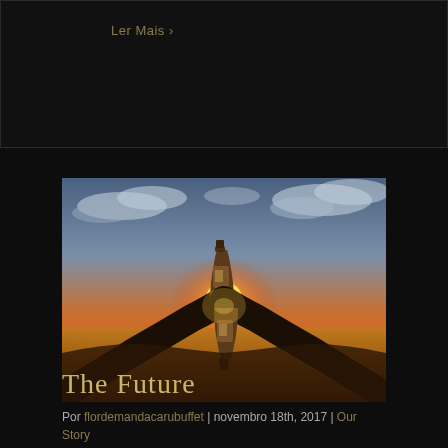Ler Mais >
[Figure (photo): Two hands clinking beer bottles together at sunset in a golden field, backlit by a glowing orange sun with dramatic clouds in the sky.]
The Future
Por flordemandacarubuffet | novembro 18th, 2017 | Our Story